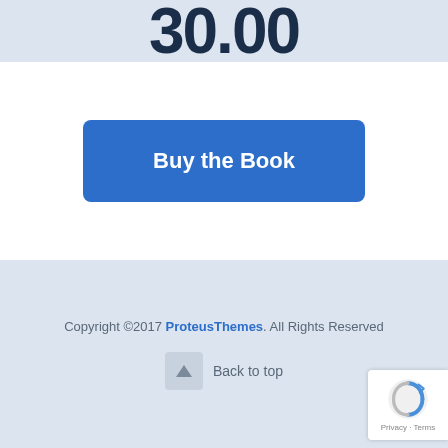30.00
Buy the Book
Copyright ©2017 ProteusThemes. All Rights Reserved
Back to top
Privacy · Terms